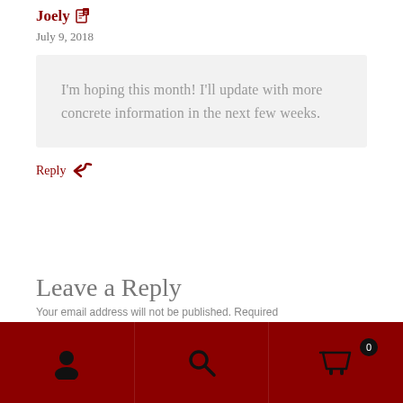Joely
July 9, 2018
I'm hoping this month! I'll update with more concrete information in the next few weeks.
Reply
Leave a Reply
Your email address will not be published. Required
Navigation bar with user, search, and cart icons